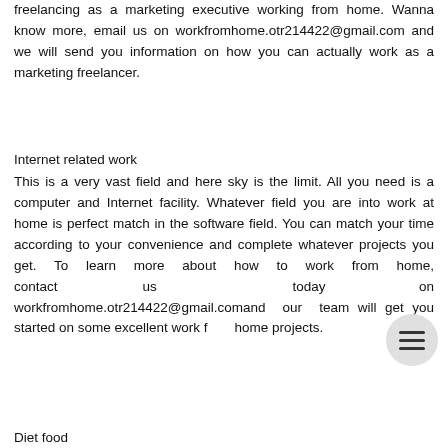freelancing as a marketing executive working from home. Wanna know more, email us on workfromhome.otr214422@gmail.com and we will send you information on how you can actually work as a marketing freelancer.
Internet related work
This is a very vast field and here sky is the limit. All you need is a computer and Internet facility. Whatever field you are into work at home is perfect match in the software field. You can match your time according to your convenience and complete whatever projects you get. To learn more about how to work from home, contact us today on workfromhome.otr214422@gmail.comand our team will get you started on some excellent work from home projects.
Diet food